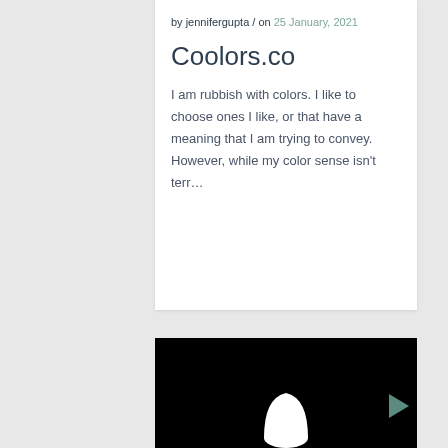by jennifergupta / on 25 January, 2021
Coolors.co
I am rubbish with colors. I like to choose ones I like, or that have a meaning that I am trying to convey. However, while my color sense isn't terr...
[Figure (photo): Dark/black background image with a white ghost-like shape at the bottom center, partially visible. A dark teal arrow/cursor icon is visible at the right side.]